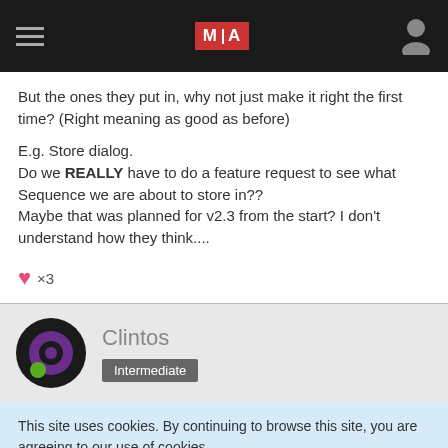MIA navigation header
But the ones they put in, why not just make it right the first time? (Right meaning as good as before)

E.g. Store dialog.
Do we REALLY have to do a feature request to see what Sequence we are about to store in??
Maybe that was planned for v2.3 from the start? I don't understand how they think....
♥ ×3
Clintos
Intermediate
This site uses cookies. By continuing to browse this site, you are agreeing to our use of cookies.
More Details  Close